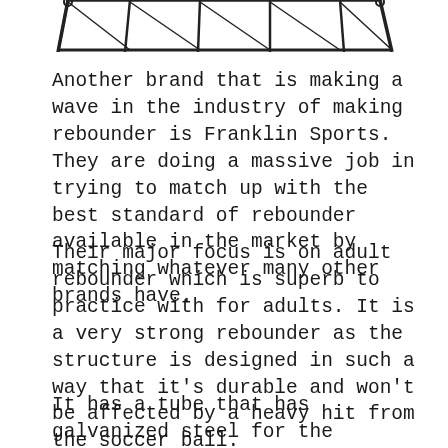[Figure (illustration): Partial view of a soccer rebounder frame — metal structure with crossbars visible at the top of the page]
Another brand that is making a wave in the industry of making rebounder is Franklin Sports. They are doing a massive job in trying to match up with the best standard of rebounder available in the market by matching whatever many other brands have.
Their major focus is on adult rebounder which is superb to practice with for adults. It is a very strong rebounder as the structure is designed in such a way that it's durable and won't be affected by a heavy hit from the soccer ball.
It has a tube that has galvanized steel for the purpose of friendly weather. This tube is